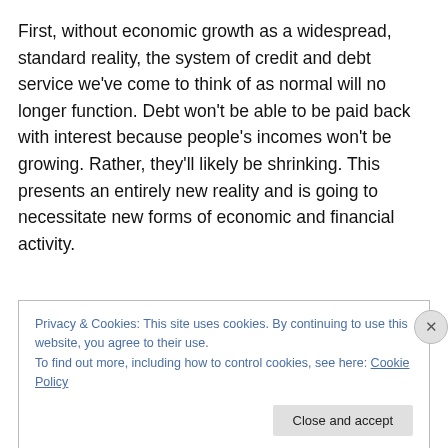First, without economic growth as a widespread, standard reality, the system of credit and debt service we've come to think of as normal will no longer function. Debt won't be able to be paid back with interest because people's incomes won't be growing. Rather, they'll likely be shrinking. This presents an entirely new reality and is going to necessitate new forms of economic and financial activity.
Privacy & Cookies: This site uses cookies. By continuing to use this website, you agree to their use.
To find out more, including how to control cookies, see here: Cookie Policy